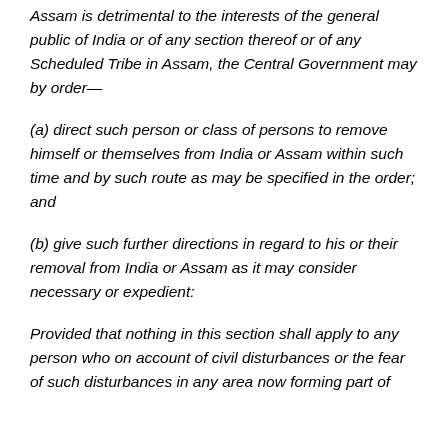Assam is detrimental to the interests of the general public of India or of any section thereof or of any Scheduled Tribe in Assam, the Central Government may by order—
(a) direct such person or class of persons to remove himself or themselves from India or Assam within such time and by such route as may be specified in the order; and
(b) give such further directions in regard to his or their removal from India or Assam as it may consider necessary or expedient:
Provided that nothing in this section shall apply to any person who on account of civil disturbances or the fear of such disturbances in any area now forming part of